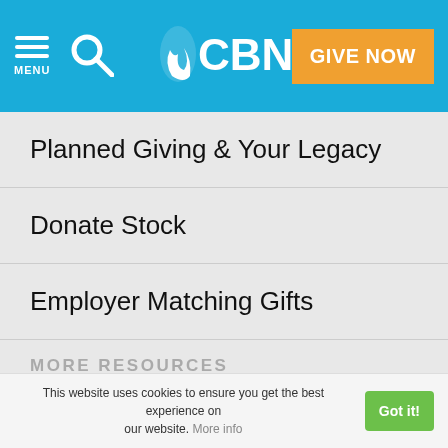CBN — MENU | SEARCH | GIVE NOW
Planned Giving & Your Legacy
Donate Stock
Employer Matching Gifts
MORE RESOURCES
Shop CBN
Bible
myCBN
Apps
This website uses cookies to ensure you get the best experience on our website. More info